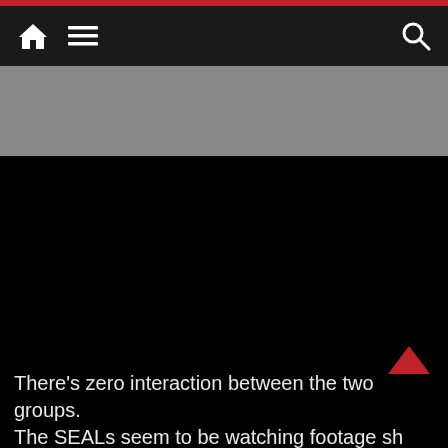Navigation bar with home icon, menu icon, and search icon
[Figure (other): Gray advertisement banner area]
[Figure (other): Black video player area (dark/empty screen)]
There’s zero interaction between the two groups. The SEALs seem to be watching footage sh the